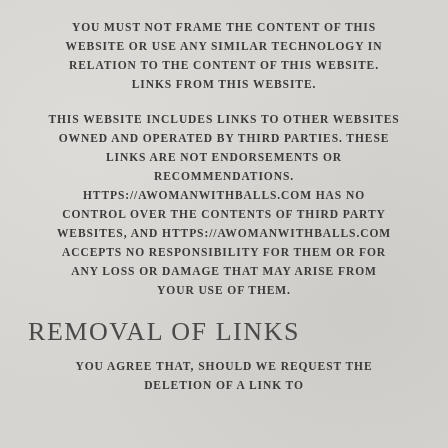YOU MUST NOT FRAME THE CONTENT OF THIS WEBSITE OR USE ANY SIMILAR TECHNOLOGY IN RELATION TO THE CONTENT OF THIS WEBSITE. LINKS FROM THIS WEBSITE.
THIS WEBSITE INCLUDES LINKS TO OTHER WEBSITES OWNED AND OPERATED BY THIRD PARTIES. THESE LINKS ARE NOT ENDORSEMENTS OR RECOMMENDATIONS. HTTPS://AWOMANWITHBALLS.COM HAS NO CONTROL OVER THE CONTENTS OF THIRD PARTY WEBSITES, AND HTTPS://AWOMANWITHBALLS.COM ACCEPTS NO RESPONSIBILITY FOR THEM OR FOR ANY LOSS OR DAMAGE THAT MAY ARISE FROM YOUR USE OF THEM.
REMOVAL OF LINKS
YOU AGREE THAT, SHOULD WE REQUEST THE DELETION OF A LINK TO